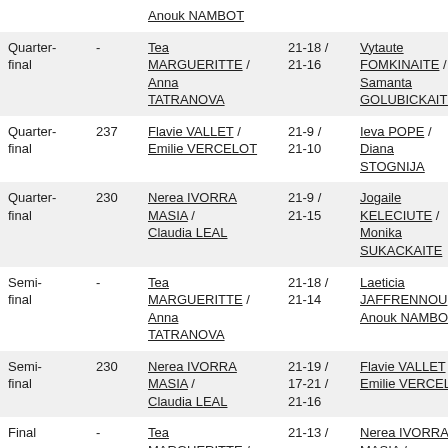| Round | Match | Winner | Score | Loser |
| --- | --- | --- | --- | --- |
| Quarter-final | - | Tea MARGUERITTE / Anna TATRANOVA | 21-18 / 21-16 | Vytaute FOMKINAITE / Samanta GOLUBICKAITE |
| Quarter-final | 237 | Flavie VALLET / Emilie VERCELOT | 21-9 / 21-10 | Ieva POPE / Diana STOGNIJA |
| Quarter-final | 230 | Nerea IVORRA MASIA / Claudia LEAL | 21-9 / 21-15 | Jogaile KELECIUTE / Monika SUKACKAITE |
| Semi-final | - | Tea MARGUERITTE / Anna TATRANOVA | 21-18 / 21-14 | Laeticia JAFFRENNOU / Anouk NAMBOT |
| Semi-final | 230 | Nerea IVORRA MASIA / Claudia LEAL | 21-19 / 17-21 / 21-16 | Flavie VALLET / Emilie VERCELOT |
| Final | - | Tea MARGUERITTE / ... | 21-13 / ... | Nerea IVORRA MASIA / ... |